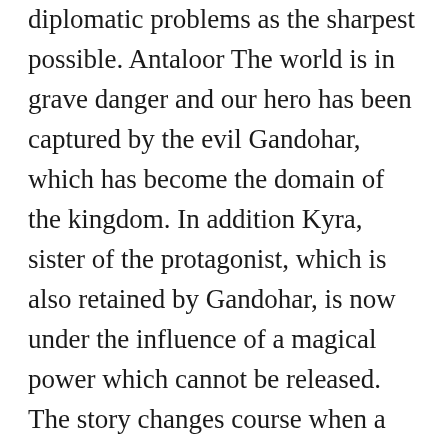diplomatic problems as the sharpest possible. Antaloor The world is in grave danger and our hero has been captured by the evil Gandohar, which has become the domain of the kingdom. In addition Kyra, sister of the protagonist, which is also retained by Gandohar, is now under the influence of a magical power which cannot be released. The story changes course when a group of orcs, natural enemies of the protagonist, hatched a scheme to their release. From that point, begin to share in the plot thanks to a full tutorial, which will begin showing the basic movements of our character as we are helped to escape from the dungeons and elucidate the more complex when we leave the castle.